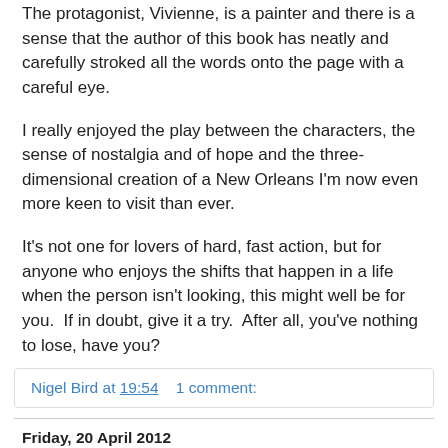The protagonist, Vivienne, is a painter and there is a sense that the author of this book has neatly and carefully stroked all the words onto the page with a careful eye.
I really enjoyed the play between the characters, the sense of nostalgia and of hope and the three-dimensional creation of a New Orleans I'm now even more keen to visit than ever.
It's not one for lovers of hard, fast action, but for anyone who enjoys the shifts that happen in a life when the person isn't looking, this might well be for you.  If in doubt, give it a try.  After all, you've nothing to lose, have you?
Nigel Bird at 19:54    1 comment:
Friday, 20 April 2012
Dancing With Myself: TADANI RAGGE